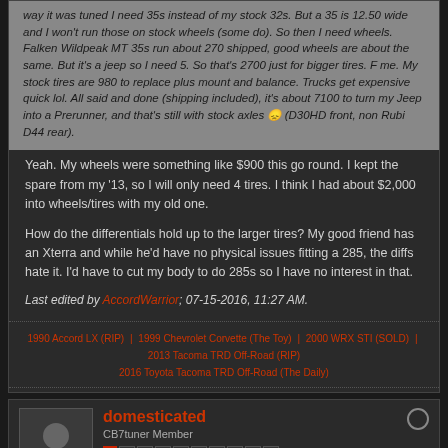way it was tuned I need 35s instead of my stock 32s. But a 35 is 12.50 wide and I won't run those on stock wheels (some do). So then I need wheels. Falken Wildpeak MT 35s run about 270 shipped, good wheels are about the same. But it's a jeep so I need 5. So that's 2700 just for bigger tires. F me. My stock tires are 980 to replace plus mount and balance. Trucks get expensive quick lol. All said and done (shipping included), it's about 7100 to turn my Jeep into a Prerunner, and that's still with stock axles 😞 (D30HD front, non Rubi D44 rear).
Yeah. My wheels were something like $900 this go round. I kept the spare from my '13, so I will only need 4 tires. I think I had about $2,000 into wheels/tires with my old one.
How do the differentials hold up to the larger tires? My good friend has an Xterra and while he'd have no physical issues fitting a 285, the diffs hate it. I'd have to cut my body to do 285s so I have no interest in that.
Last edited by AccordWarrior; 07-15-2016, 11:27 AM.
1990 Accord LX (RIP) | 1999 Chevrolet Corvette (The Toy) | 2000 WRX STI (SOLD) | 2013 Tacoma TRD Off-Road (RIP) | 2016 Toyota Tacoma TRD Off-Road (The Daily)
domesticated
CB7tuner Member